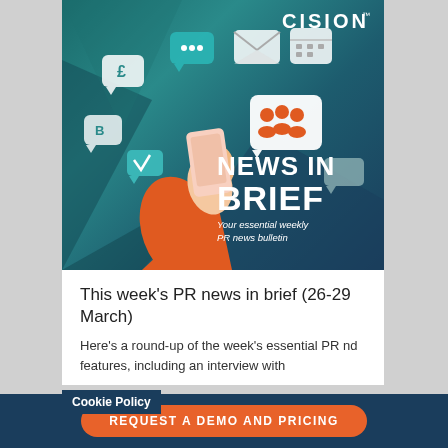[Figure (illustration): Cision 'News in Brief' banner image featuring a hand holding a smartphone with various social media and communication icons (speech bubbles, email, calendar, people icons) floating above it on a teal/dark geometric background. The Cision logo appears in the top right. Large white text reads 'NEWS IN BRIEF' with tagline 'Your essential weekly PR news bulletin'.]
This week’s PR news in brief (26-29 March)
Here’s a round-up of the week’s essential PR nd features, including an interview with
Cookie Policy
REQUEST A DEMO AND PRICING